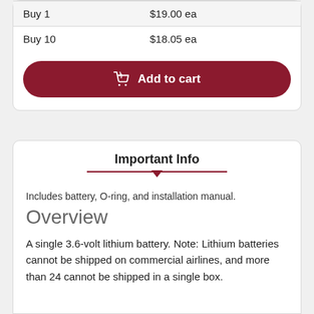| Buy 1 | $19.00 ea |
| Buy 10 | $18.05 ea |
[Figure (other): Add to cart button with shopping cart icon, dark red/maroon rounded button]
Important Info
Includes battery, O-ring, and installation manual.
Overview
A single 3.6-volt lithium battery. Note: Lithium batteries cannot be shipped on commercial airlines, and more than 24 cannot be shipped in a single box.